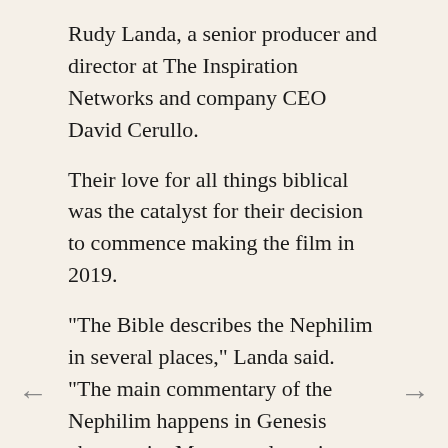Rudy Landa, a senior producer and director at The Inspiration Networks and company CEO David Cerullo.
Their love for all things biblical was the catalyst for their decision to commence making the film in 2019.
"The Bible describes the Nephilim in several places," Landa said. "The main commentary of the Nephilim happens in Genesis chapter six. Most people cruise right over that passage. The Nephilim were the offspring of heavenly beings who were placed in the spiritual realm to watch over the